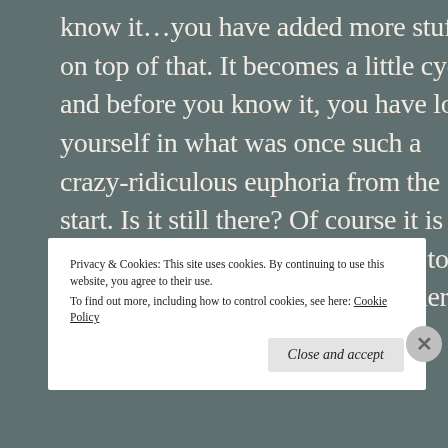know it…you have added more stuff on top of that. It becomes a little cycle and before you know it, you have lost yourself in what was once such a crazy-ridiculous euphoria from the start. Is it still there? Of course it is but just like the closet, it gets pushed to the bottom and covered up by other 'stuff'.
Privacy & Cookies: This site uses cookies. By continuing to use this website, you agree to their use.
To find out more, including how to control cookies, see here: Cookie Policy